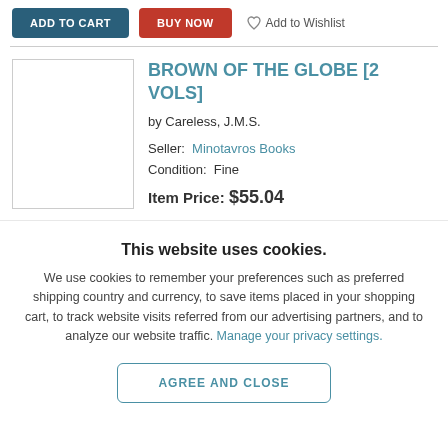[Figure (screenshot): Top bar with ADD TO CART button (dark teal), BUY NOW button (red), and Add to Wishlist link with heart/pin icon]
[Figure (illustration): Book cover placeholder image (white rectangle with border)]
BROWN OF THE GLOBE [2 VOLS]
by Careless, J.M.S.
Seller: Minotavros Books
Condition: Fine
Item Price: $55.04
This website uses cookies.
We use cookies to remember your preferences such as preferred shipping country and currency, to save items placed in your shopping cart, to track website visits referred from our advertising partners, and to analyze our website traffic. Manage your privacy settings.
AGREE AND CLOSE